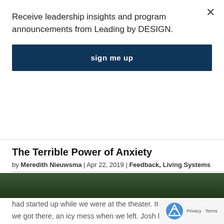Receive leadership insights and program announcements from Leading by DESIGN.
sign me up
The Terrible Power of Anxiety
by Meredith Nieuwsma | Apr 22, 2019 | Feedback, Living Systems
When my husband and I were engaged, we got into a car accident on the way home from seeing a movie. A blizzard had started up while we were at the theater. It was clear when we got there, an icy mess when we left. Josh lost control of his car on the ice-filmed road...